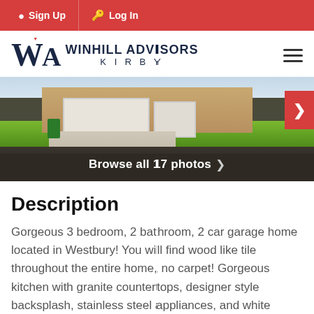Sign Up | Log In
[Figure (logo): Winhill Advisors Kirby logo with WA monogram in navy and red]
[Figure (photo): Exterior photo of a house with green lawn, driveway, and garage. Red arrow navigation button on right. Dark overlay with text 'Browse all 17 photos'.]
Description
Gorgeous 3 bedroom, 2 bathroom, 2 car garage home located in Westbury! You will find wood like tile throughout the entire home, no carpet! Gorgeous kitchen with granite countertops, designer style backsplash, stainless steel appliances, and white